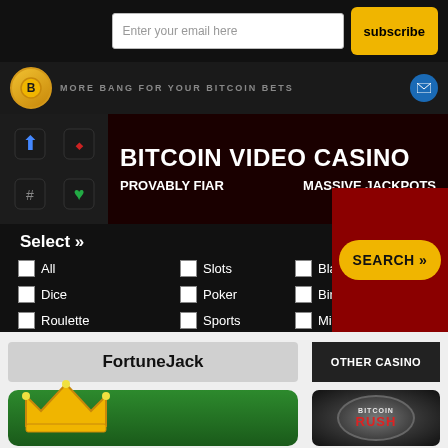Enter your email here
subscribe
MORE BANG FOR YOUR BITCOIN BETS
[Figure (screenshot): Bitcoin Video Casino banner with card suit icons, text BITCOIN VIDEO CASINO, PROVABLY FIAR, MASSIVE JACKPOTS]
Select »
All
Slots
Blackjack
Dice
Poker
Bingo
Roulette
Sports
Misc
SEARCH »
FortuneJack
OTHER CASINO
[Figure (logo): Bitcoin Rush logo on dark radial gradient background]